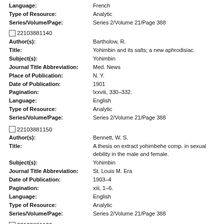Language: French
Type of Resource: Analytic
Series/Volume/Page: Series 2/Volume 21/Page 388
22103881140
Author(s): Bartholow, R.
Title: Yohimbin and its salts; a new aphrodisiac.
Subject(s): Yohimbin
Journal Title Abbreviation: Med. News
Place of Publication: N. Y.
Date of Publication: 1901
Pagination: lxxviii, 330-332.
Language: English
Type of Resource: Analytic
Series/Volume/Page: Series 2/Volume 21/Page 388
22103881150
Author(s): Bennett, W. S.
Title: A thesis on extract yohimbehe comp. in sexual debility in the male and female.
Subject(s): Yohimbin
Journal Title Abbreviation: St. Louis M. Era
Date of Publication: 1903-4
Pagination: xiii, 1-6.
Language: English
Type of Resource: Analytic
Series/Volume/Page: Series 2/Volume 21/Page 388
22103881160
Author(s): Berger